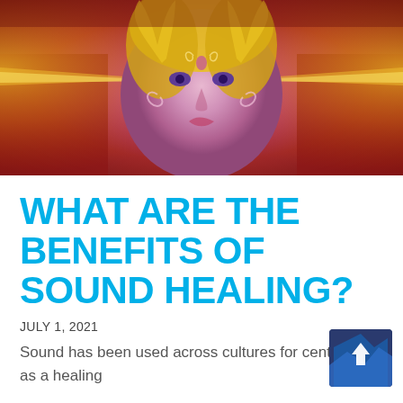[Figure (illustration): Artistic illustration of a woman's face with mystical/spiritual themes — dual faces or mirror effect, golden-yellow hair with flame-like elements, warm red and orange background with radiating light beams, purple and pink tones on face, swirling decorative patterns.]
WHAT ARE THE BENEFITS OF SOUND HEALING?
JULY 1, 2021
Sound has been used across cultures for centuries as a healing